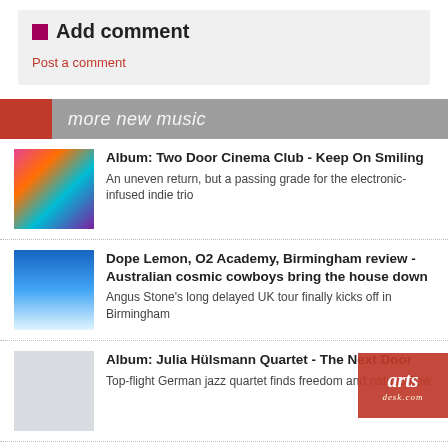Add comment
Post a comment
more new music
Album: Two Door Cinema Club - Keep On Smiling
An uneven return, but a passing grade for the electronic-infused indie trio
Dope Lemon, O2 Academy, Birmingham review - Australian cosmic cowboys bring the house down
Angus Stone’s long delayed UK tour finally kicks off in Birmingham
Album: Julia Hülsmann Quartet - The Next Door
Top-flight German jazz quartet finds freedom and natural flow
Music Reissues Weekly: The Swinging Blue Jeans - A Better Anthology 1963-1969